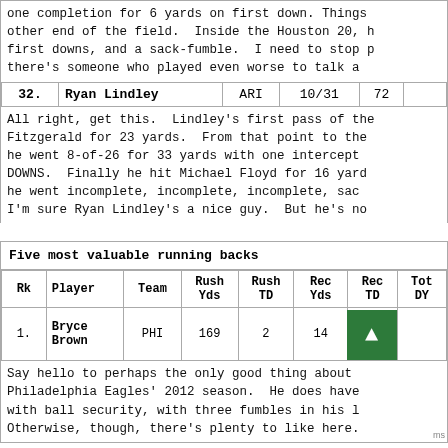one completion for 6 yards on first down. Things other end of the field. Inside the Houston 20, h first downs, and a sack-fumble. I need to stop p there's someone who played even worse to talk a
| 32. | Ryan Lindley | ARI | 10/31 | 72 |
| --- | --- | --- | --- | --- |
All right, get this. Lindley's first pass of the Fitzgerald for 23 yards. From that point to the he went 8-of-26 for 33 yards with one intercept DOWNS. Finally he hit Michael Floyd for 16 yard he went incomplete, incomplete, incomplete, sac I'm sure Ryan Lindley's a nice guy. But he's no
Five most valuable running backs
| Rk | Player | Team | Rush Yds | Rush TD | Rec Yds | Rec TD | Tot DY |
| --- | --- | --- | --- | --- | --- | --- | --- |
| 1. | Bryce Brown | PHI | 169 | 2 | 14 |  |  |
Say hello to perhaps the only good thing about Philadelphia Eagles' 2012 season. He does have with ball security, with three fumbles in his l Otherwise, though, there's plenty to like here.